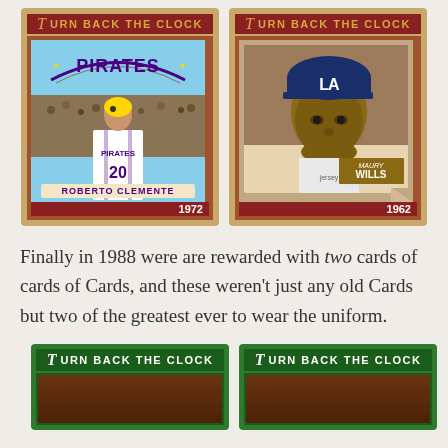[Figure (photo): Two baseball card images side by side. Left: 'Turn Back the Clock' card featuring Roberto Clemente in Pittsburgh Pirates uniform, 1972. Right: 'Turn Back the Clock' card featuring Maury Wills in LA Dodgers uniform, 1962.]
Finally in 1988 were are rewarded with two cards of cards of Cards, and these weren't just any old Cards but two of the greatest ever to wear the uniform.
[Figure (photo): Two 'Turn Back the Clock' baseball cards (bottom, partially visible), both with green borders.]